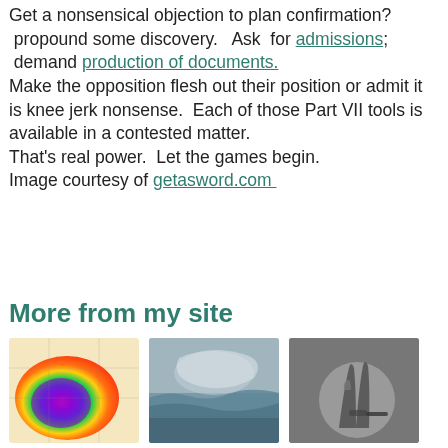Get a nonsensical objection to plan confirmation? propound some discovery.  Ask  for admissions; demand production of documents. Make the opposition flesh out their position or admit it is knee jerk nonsense.  Each of those Part VII tools is available in a contested matter. That's real power.  Let the games begin. Image courtesy of getasword.com
More from my site
[Figure (photo): Weather radar image showing colorful storm system with blues, purples, greens, and oranges over a map]
[Figure (photo): Stormy ocean or sea scene with gray skies and rough waves near a mountainous coastline]
[Figure (photo): Black and white photo of a hand holding a small object between fingers]